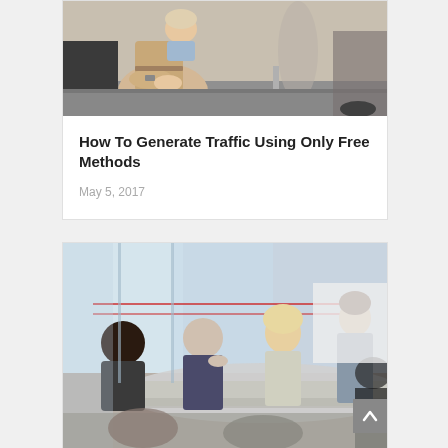[Figure (photo): Two people seated in a business/office waiting area, one appears to be wearing a beige outfit with a watch, with a table visible in the background]
How To Generate Traffic Using Only Free Methods
May 5, 2017
[Figure (photo): A business meeting scene viewed through glass, showing several people seated at a table with a man in a gray shirt standing and presenting, in a modern office with large windows]